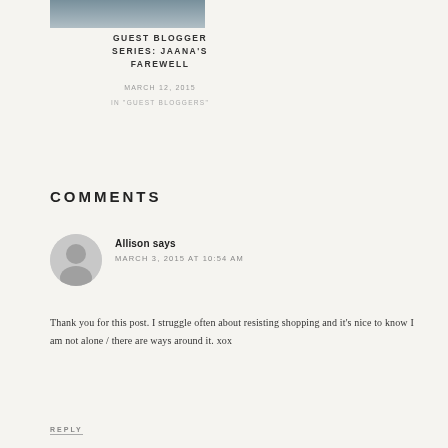[Figure (photo): Top portion of a photo of a person, cropped at the top of the page]
GUEST BLOGGER SERIES: JAANA'S FAREWELL
MARCH 12, 2015
IN "GUEST BLOGGERS"
COMMENTS
[Figure (photo): Grey circle avatar placeholder for commenter Allison]
Allison says
MARCH 3, 2015 AT 10:54 AM
Thank you for this post. I struggle often about resisting shopping and it's nice to know I am not alone / there are ways around it. xox
REPLY